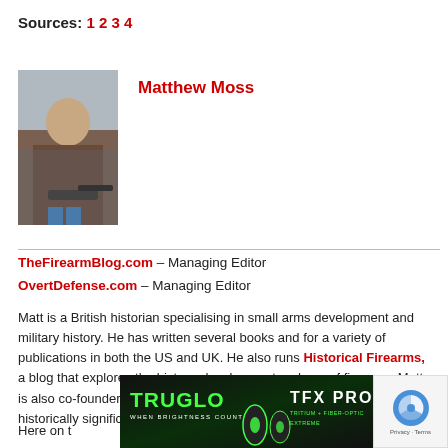Sources: 1 2 3 4
[Figure (photo): Author photo of Matthew Moss shooting a firearm outdoors]
Matthew Moss
TheFirearmBlog.com – Managing Editor
OvertDefense.com – Managing Editor
Matt is a British historian specialising in small arms development and military history. He has written several books and for a variety of publications in both the US and UK. He also runs Historical Firearms, a blog that explores the history, development and use of firearms. Matt is also co-founder of The Armourer's Bench, a video series on historically significant small arms.
Here on
[Figure (photo): TRUGLO TFX PRO advertisement banner showing night sights on a dark green background]